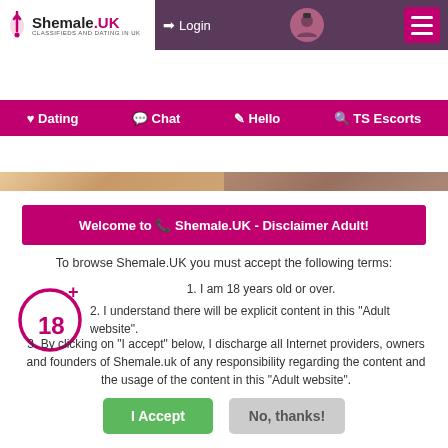[Figure (screenshot): Website header with Shemale.UK logo, Login button, avatar icon, and hamburger menu on purple background]
♥ Dating  💬 Chat  ✎ Hello  🔍 TS Escorts
[Figure (photo): Strip of adult content thumbnail images]
Welcome to 📞 Shemale.UK - Disclaimer Adult!
To browse Shemale.UK you must accept the following terms:
1. I am 18 years old or over.
2. I understand there will be explicit content in this "Adult website".
3. By clicking on "I accept" below, I discharge all Internet providers, owners and founders of Shemale.uk of any responsibility regarding the content and the usage of the content in this "Adult website".
I Accept    No, thanks!